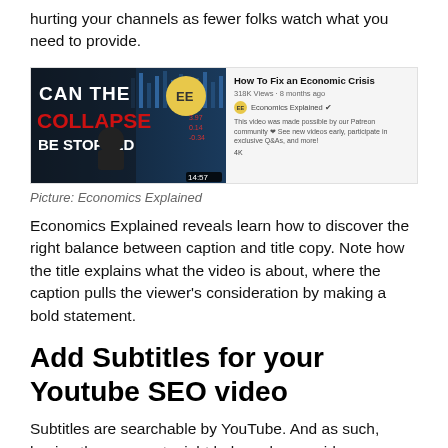hurting your channels as fewer folks watch what you need to provide.
[Figure (screenshot): YouTube video thumbnail and info panel for 'How To Fix an Economic Crisis' by Economics Explained channel, showing 318K views, 8 months ago, with description about Patreon community.]
Picture: Economics Explained
Economics Explained reveals learn how to discover the right balance between caption and title copy. Note how the title explains what the video is about, where the caption pulls the viewer's consideration by making a bold statement.
Add Subtitles for your Youtube SEO video
Subtitles are searchable by YouTube. And as such, having them current might help rank your video increased in search.